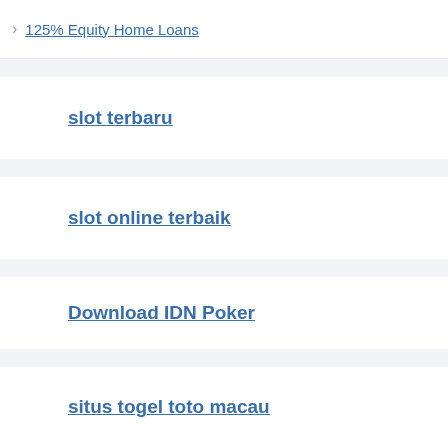125% Equity Home Loans
slot terbaru
slot online terbaik
Download IDN Poker
situs togel toto macau